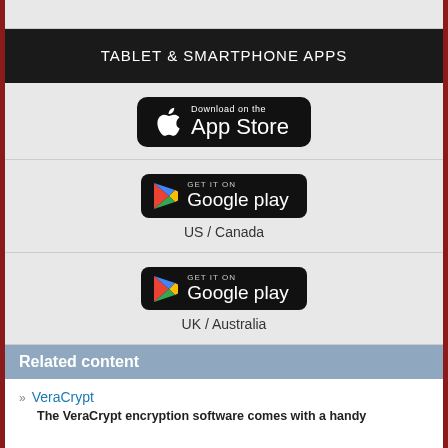TABLET & SMARTPHONE APPS
[Figure (logo): Download on the App Store button (Apple)]
[Figure (logo): Get it on Google Play button - US / Canada]
US / Canada
[Figure (logo): Get it on Google Play button - UK / Australia]
UK / Australia
Related content
VeraCrypt
The VeraCrypt encryption software comes with a handy